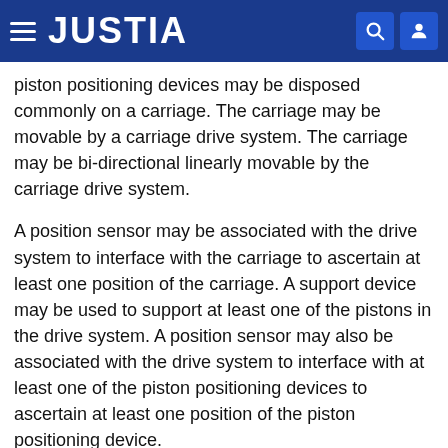JUSTIA
piston positioning devices may be disposed commonly on a carriage. The carriage may be movable by a carriage drive system. The carriage may be bi-directional linearly movable by the carriage drive system.
A position sensor may be associated with the drive system to interface with the carriage to ascertain at least one position of the carriage. A support device may be used to support at least one of the pistons in the drive system. A position sensor may also be associated with the drive system to interface with at least one of the piston positioning devices to ascertain at least one position of the piston positioning device.
In another aspect, a method is disclosed for operating a fluid pumping device. Such a method comprises providing a fluid pumping device comprising a pump housing comprising a base member comprising plurality